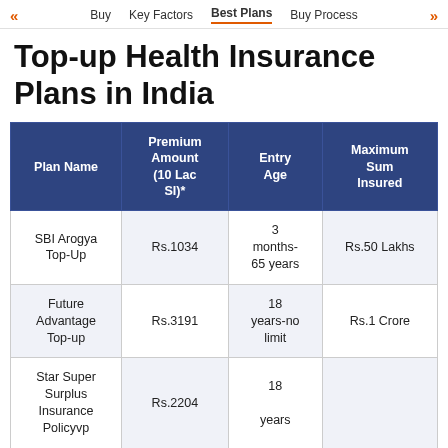<< Buy   Key Factors   Best Plans   Buy Process   >>
Top-up Health Insurance Plans in India
| Plan Name | Premium Amount (10 Lac SI)* | Entry Age | Maximum Sum Insured |
| --- | --- | --- | --- |
| SBI Arogya Top-Up | Rs.1034 | 3 months-65 years | Rs.50 Lakhs |
| Future Advantage Top-up | Rs.3191 | 18 years-no limit | Rs.1 Crore |
| Star Super Surplus Insurance Policyp | Rs.2204 | 18 years |  |